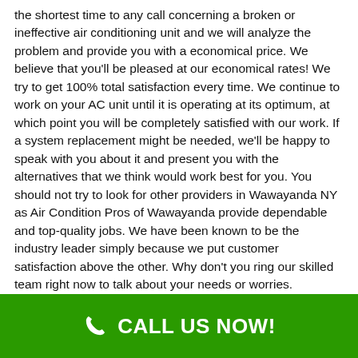the shortest time to any call concerning a broken or ineffective air conditioning unit and we will analyze the problem and provide you with a economical price. We believe that you'll be pleased at our economical rates! We try to get 100% total satisfaction every time. We continue to work on your AC unit until it is operating at its optimum, at which point you will be completely satisfied with our work. If a system replacement might be needed, we'll be happy to speak with you about it and present you with the alternatives that we think would work best for you. You should not try to look for other providers in Wawayanda NY as Air Condition Pros of Wawayanda provide dependable and top-quality jobs. We have been known to be the industry leader simply because we put customer satisfaction above the other. Why don't you ring our skilled team right now to talk about your needs or worries.
24/7 Emergency A/C Repair
CALL US NOW!